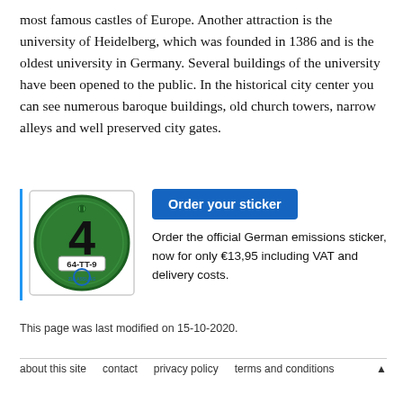most famous castles of Europe. Another attraction is the university of Heidelberg, which was founded in 1386 and is the oldest university in Germany. Several buildings of the university have been opened to the public. In the historical city center you can see numerous baroque buildings, old church towers, narrow alleys and well preserved city gates.
[Figure (illustration): Green circular German emissions (Umweltplakette) sticker showing number 4 in black, with label '64-TT-9' and a blue stamp at the bottom, on a white background inside a thin border.]
Order your sticker
Order the official German emissions sticker, now for only €13,95 including VAT and delivery costs.
This page was last modified on 15-10-2020.
about this site   contact   privacy policy   terms and conditions   ▲